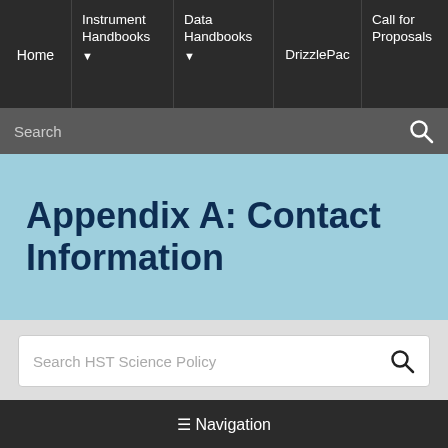Home | Instrument Handbooks ▾ | Data Handbooks ▾ | DrizzlePac | Call for Proposals
Search
Appendix A: Contact Information
Search HST Science Policy
Contact information for STScI support.
≡ Navigation